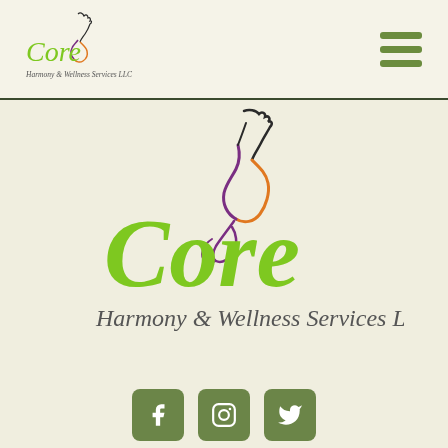[Figure (logo): Core Harmony & Wellness Services LLC logo small version in header - green script 'Core' with horse figure and 'Harmony & Wellness Services LLC' text]
[Figure (logo): Hamburger menu icon with three green horizontal bars, top right of header]
[Figure (logo): Large Core Harmony & Wellness Services LLC logo centered on page - green script 'Core' text with orange/purple/black horse figure above, and orange/script 'Harmony & Wellness Services LLC :|' subtitle]
[Figure (infographic): Three social media icon buttons: Facebook (f), Instagram (camera), Twitter (bird), in olive green rounded square buttons]